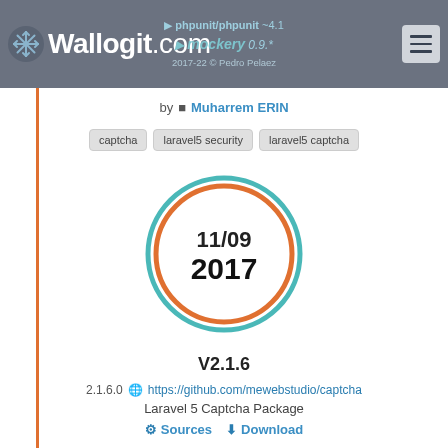Wallogit.com | phpunit/phpunit ~4.1 | mockery 0.9.* | 2017-22 © Pedro Pelaez
by Muharrem ERIN
captcha   laravel5 security   laravel5 captcha
[Figure (donut-chart): Circular ring graphic showing date 11/09 2017 with teal outer ring and orange inner ring]
V2.1.6
2.1.6.0  https://github.com/mewebstudio/captcha
Laravel 5 Captcha Package
Sources   Download